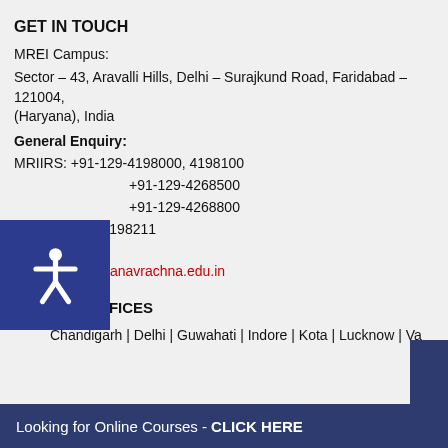GET IN TOUCH
MREI Campus:
Sector – 43, Aravalli Hills, Delhi – Surajkund Road, Faridabad – 121004, (Haryana), India
General Enquiry:
MRIIRS: +91-129-4198000, 4198100
MRU: +91-129-4268500
MRDC: +91-129-4268800
Fax: +91-129-4198211
Email:
admissions@manavrachna.edu.in
CITY OFFICES
Chandigarh | Delhi | Guwahati | Indore | Kota | Lucknow | Va...
Looking for Online Courses - CLICK HERE